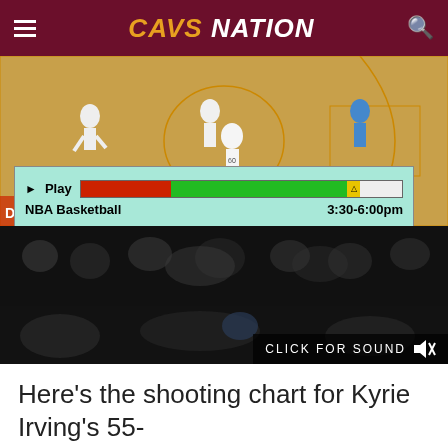CAVS NATION
[Figure (screenshot): Screenshot of an NBA basketball game footage with a TV guide overlay showing 'Play', 'NBA Basketball', '3:30-6:00pm' and a progress bar. Below the court footage is a dark audience strip with a 'CLICK FOR SOUND' muted icon overlay.]
Here’s the shooting chart for Kyrie Irving’s 55-point performance against the Portland Trailblazers: